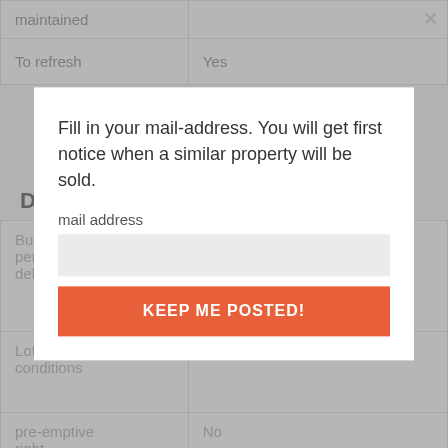|  |  |
| --- | --- |
| maintained |  |
| To refresh | Yes |
Details
|  |  |
| --- | --- |
| Building permit delivered | Yes |
| Lotting conditions | No |
| pre-emptive right | No |
| Judicial or administrative measures imposed | No |
|  |  |
[Figure (screenshot): Modal dialog overlay with text: 'Fill in your mail-address. You will get first notice when a similar property will be sold.' with a mail address input field and a 'KEEP ME POSTED!' orange button.]